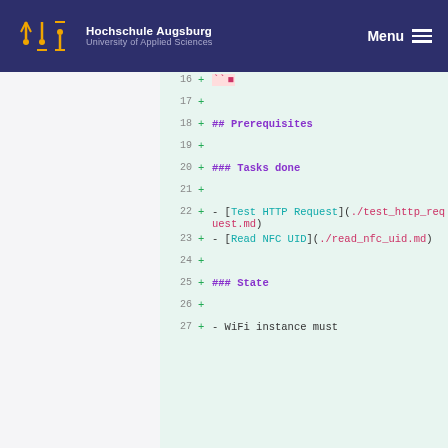Hochschule Augsburg University of Applied Sciences | Menu
[Figure (screenshot): Code diff view showing lines 16-27 of a markdown file with added lines (+) including ## Prerequisites, ### Tasks done, list items for Test HTTP Request and Read NFC UID with links, ### State, and WiFi instance must]
16  +  `` 
17  +
18  +  ## Prerequisites
19  +
20  +  ### Tasks done
21  +
22  +  - [Test HTTP Request](./test_http_request.md)
23  +  - [Read NFC UID](./read_nfc_uid.md)
24  +
25  +  ### State
26  +
27  +  - WiFi instance must